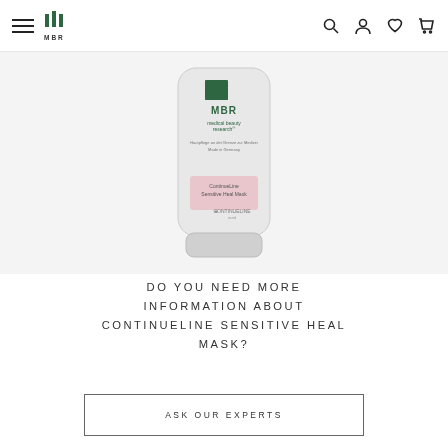MBR medical beauty research — navigation bar
[Figure (photo): MBR ContinueLine Sensitive Heal Mask product tube — white tube with green MBR logo, pink label panel reading 'ContinueLine Sensitive Heal Mask', on light grey/white background]
DO YOU NEED MORE INFORMATION ABOUT CONTINUELINE SENSITIVE HEAL MASK?
ASK OUR EXPERTS